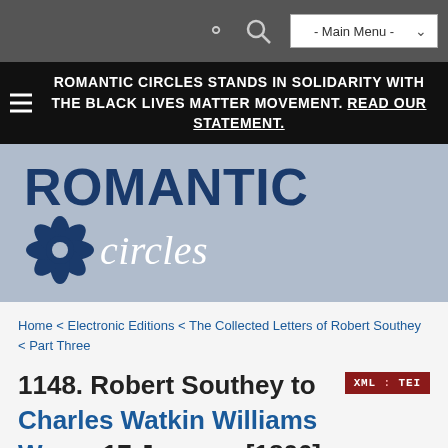[Figure (screenshot): Navigation bar with search icon and main menu dropdown]
ROMANTIC CIRCLES STANDS IN SOLIDARITY WITH THE BLACK LIVES MATTER MOVEMENT. READ OUR STATEMENT.
[Figure (logo): Romantic Circles logo with blue flower icon, ROMANTIC in bold blue and circles in white italic on a steel-blue background]
Home < Electronic Editions < The Collected Letters of Robert Southey < Part Three
1148. Robert Southey to Charles Watkin Williams Wynn, 17 January [1806] *